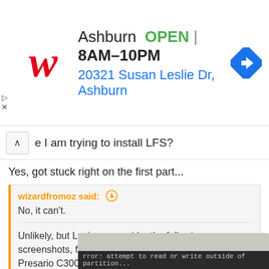[Figure (infographic): Walgreens advertisement banner: logo, Ashburn location, OPEN 8AM-10PM, 20321 Susan Leslie Dr, Ashburn, navigation icon]
e I am trying to install LFS?
Yes, got stuck right on the first part...
wizardfromoz said: [icon]
No, it can't.
Unlikely, but Luciano, consider the following screenshots, from my wife Elaine's old Compaq Presario C300, where I have just installed a 4th Linux (MX-17 32-bit) on it.
Click to expand...
[Figure (screenshot): Partial terminal/console screenshot showing text: error: attempt to read or write outside of partition]